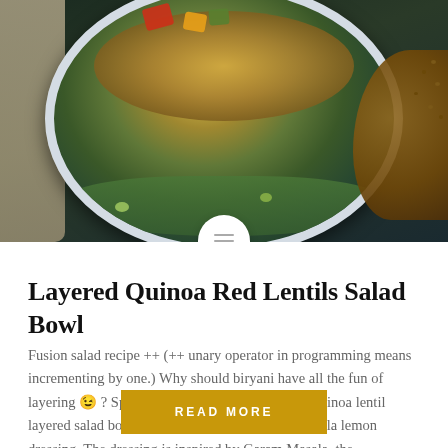[Figure (photo): Overhead photo of a layered quinoa red lentils salad bowl with greens, colorful peppers, and lentils scattered on a dark background. A white bowl is visible with a menu icon circle overlay at the bottom center.]
Layered Quinoa Red Lentils Salad Bowl
Fusion salad recipe ++ (++ unary operator in programming means incrementing by one.) Why should biryani have all the fun of layering 😉 ? Spice up your meal with a healthy quinoa lentil layered salad bowl prepared using homemade masala lemon dressing. The dressing is inspired by Garam Masala, the quintessential spice mix of India....
READ MORE